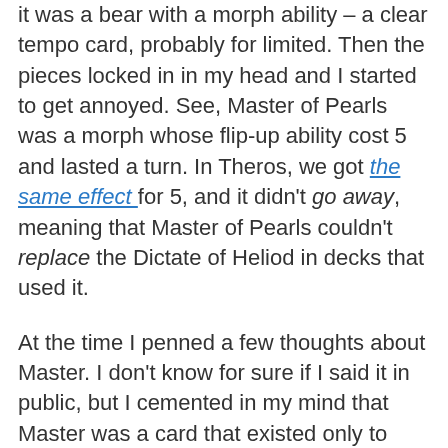it was a bear with a morph ability – a clear tempo card, probably for limited. Then the pieces locked in in my head and I started to get annoyed. See, Master of Pearls was a morph whose flip-up ability cost 5 and lasted a turn. In Theros, we got the same effect for 5, and it didn't go away, meaning that Master of Pearls couldn't replace the Dictate of Heliod in decks that used it.
At the time I penned a few thoughts about Master. I don't know for sure if I said it in public, but I cemented in my mind that Master was a card that existed only to mess up limited – it was a limited trick card that was too good in limited, but in constructed, it was worthless. This was a bad card, and Wizard should be ashamed of it. Either make it better for constructed or worse for limited, but don't let it exist in this strange twilight space.
And then, Fate Reforged: